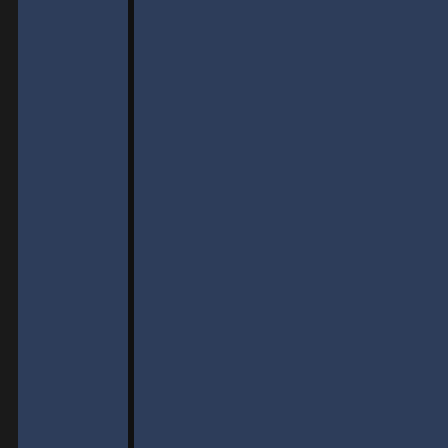g London to New York as it made it possible to go there in back in a day. No obvious benefit when flying from New York. I'm glad it